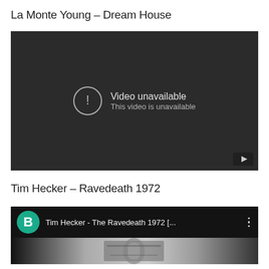La Monte Young – Dream House
[Figure (screenshot): Embedded YouTube video player showing 'Video unavailable / This video is unavailable' error message on dark background, with YouTube logo button in bottom-right corner.]
Tim Hecker – Ravedeath 1972
[Figure (screenshot): Embedded YouTube video player showing 'Tim Hecker - The Ravedeath 1972 [...]' with a teal avatar 'B', video title text, and a thumbnail image of a trash can in a grayscale photo.]